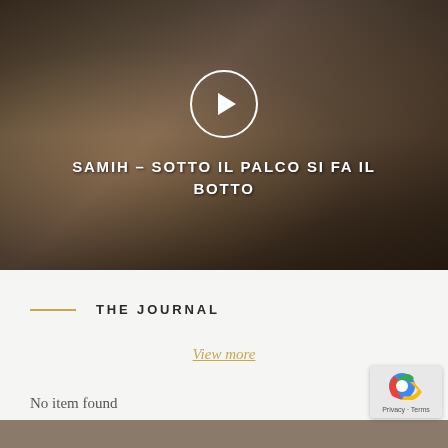[Figure (photo): Video thumbnail showing people on a film/stage set in an outdoor desert-like setting. A play button circle is overlaid in the center. Text overlay reads 'SAMIH - SOTTO IL PALCO SI FA IL BOTTO' in white uppercase letters.]
THE JOURNAL
View more
No item found